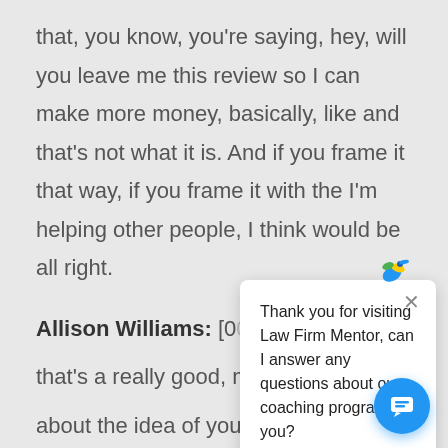that, you know, you're saying, hey, will you leave me this review so I can make more money, basically, like and that's not what it is. And if you frame it that way, if you frame it with the I'm helping other people, I think would be all right.
Allison Williams: [00:37:17] Yeah, I think that's a really good, r... about the idea of you... fans, they want to se... also realize that you helped them out in a difficult time and they want to see other people get the same level of success. So let's say you have
[Figure (screenshot): Chat popup overlay showing a hummingbird logo at top, an X close button, and text: 'Thank you for visiting Law Firm Mentor, can I answer any questions about our coaching program for you?']